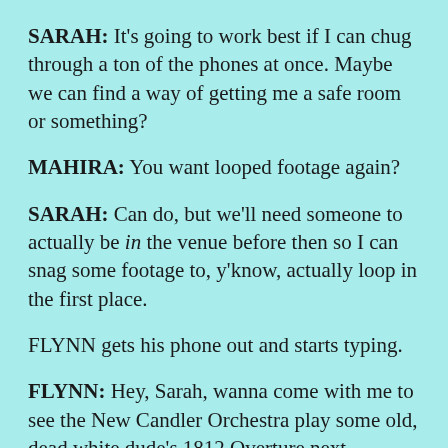SARAH: It's going to work best if I can chug through a ton of the phones at once. Maybe we can find a way of getting me a safe room or something?
MAHIRA: You want looped footage again?
SARAH: Can do, but we'll need someone to actually be in the venue before then so I can snag some footage to, y'know, actually loop in the first place.
FLYNN gets his phone out and starts typing.
FLYNN: Hey, Sarah, wanna come with me to see the New Candler Orchestra play some old, dead white dude's 1812 Overture next weekend?
LIAM'S INNER VOICE: Flynn, oh my god.